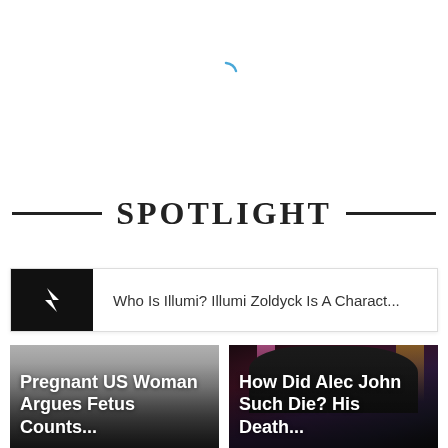[Figure (other): Loading spinner icon — a partial arc in blue/teal color indicating page loading]
SPOTLIGHT
Who Is Illumi? Illumi Zoldyck Is A Charact...
[Figure (photo): Article card with gradient overlay and text: Pregnant US Woman Argues Fetus Counts...]
[Figure (photo): Article card showing a man performing on stage with pink stage lights, text: How Did Alec John Such Die? His Death...]